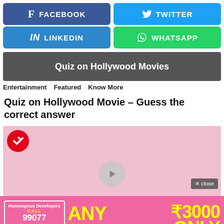[Figure (screenshot): Facebook share button - blue rounded rectangle with f icon and FACEBOOK text]
[Figure (screenshot): Twitter share button - light blue rounded rectangle with bird icon and TWITTER text]
[Figure (screenshot): LinkedIn share button - blue rounded rectangle with in icon and LINKEDIN text]
[Figure (screenshot): WhatsApp share button - green rounded rectangle with WhatsApp icon and WHATSAPP text]
[Figure (screenshot): Dark banner showing Quiz on Hollywood Movies text]
Entertainment   Featured   Know More
Quiz on Hollywood Movie – Guess the correct answer
[Figure (screenshot): Video area with pink/rose background, BuzzFeed red circle badge with arrow icon top-left, play button center-bottom, close button bottom-right]
[Figure (infographic): Pink advertisement banner: Humongous Developers CALL 9907707306 humongousdevelopers.com | ANY WEBSITE | ₹3000 ONLY]